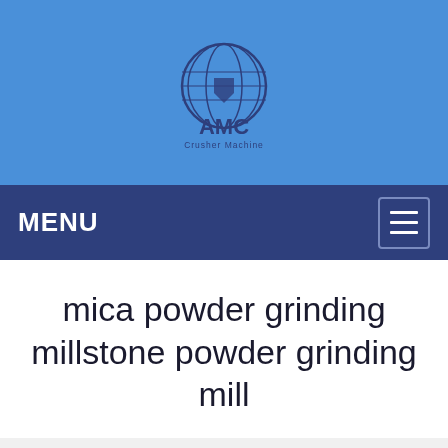[Figure (logo): AMC globe logo with 'AMC' text and 'Crusher Machine' subtitle on a blue background]
MENU
mica powder grinding millstone powder grinding mill
Tell us what you are looking for?
Please fill in and submit the following form, our service team will contact you as soon as possible and provide a complete solution.